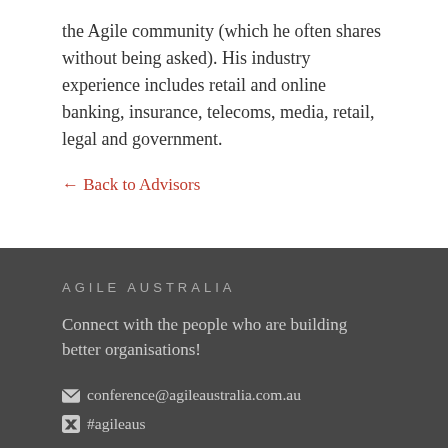the Agile community (which he often shares without being asked). His industry experience includes retail and online banking, insurance, telecoms, media, retail, legal and government.
← Back to Advisors
AGILE AUSTRALIA
Connect with the people who are building better organisations!
conference@agileaustralia.com.au
#agileaus